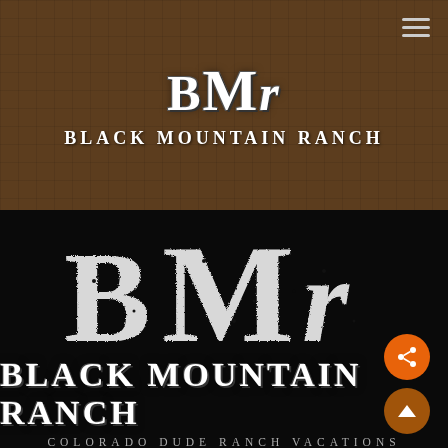[Figure (logo): Black Mountain Ranch (BMR) header logo on dark brown wood-textured background with white distressed 'BMR' monogram letters and 'BLACK MOUNTAIN RANCH' text below]
[Figure (logo): Large Black Mountain Ranch logo on black background with oversized distressed 'BMR' letters, 'BLACK MOUNTAIN RANCH' bold text, and 'COLORADO DUDE RANCH VACATIONS' subtitle]